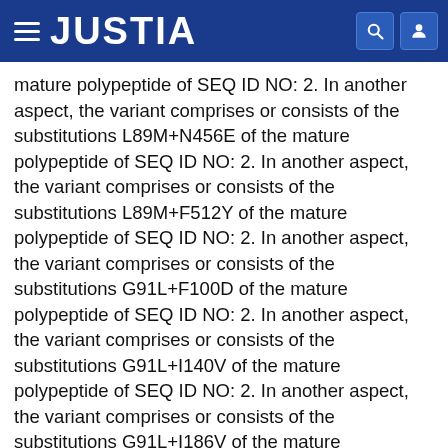JUSTIA
mature polypeptide of SEQ ID NO: 2. In another aspect, the variant comprises or consists of the substitutions L89M+N456E of the mature polypeptide of SEQ ID NO: 2. In another aspect, the variant comprises or consists of the substitutions L89M+F512Y of the mature polypeptide of SEQ ID NO: 2. In another aspect, the variant comprises or consists of the substitutions G91L+F100D of the mature polypeptide of SEQ ID NO: 2. In another aspect, the variant comprises or consists of the substitutions G91L+I140V of the mature polypeptide of SEQ ID NO: 2. In another aspect, the variant comprises or consists of the substitutions G91L+I186V of the mature polypeptide of SEQ ID NO: 2. In another aspect, the variant comprises or consists of the substitutions G91L+S283G of the mature polypeptide of SEQ ID NO: 2. In another aspect, the variant comprises or consists of the substitutions G91L+N456E of the mature polypeptide of SEQ ID NO: 2.